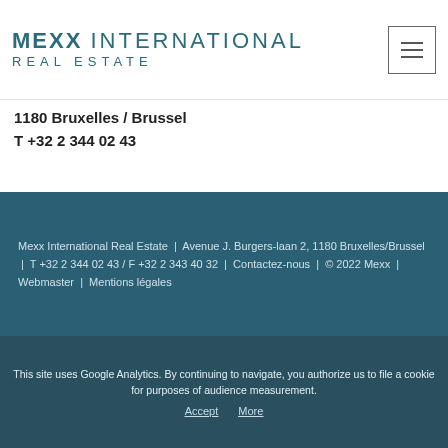MEXX INTERNATIONAL REAL ESTATE
1180 Bruxelles / Brussel
T +32 2 344 02 43
Follow us
[Figure (logo): Facebook and Instagram social media icons]
Mexx International Real Estate | Avenue J. Burgers-laan 2, 1180 Bruxelles/Brussel | T +32 2 344 02 43 / F +32 2 343 40 32 | Contactez-nous | © 2022 Mexx | Webmaster | Mentions légales
This site uses Google Analytics. By continuing to navigate, you authorize us to file a cookie for purposes of audience measurement. Accept  More